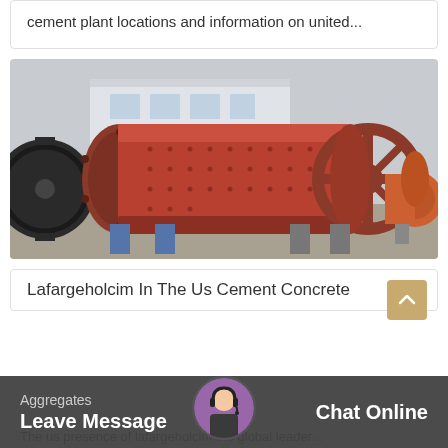cement plant locations and information on united...
[Figure (photo): Industrial ball mill / cement grinding equipment - large red cylindrical rotating drum machinery in an outdoor industrial yard with building in background]
Lafargeholcim In The Us Cement Concrete
Aggregates
Leave Message
Chat Online
The us presence of lafargeholcim the global leader...